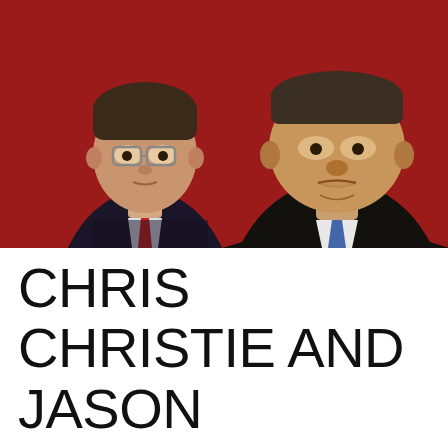[Figure (photo): Two men photographed against a dark red background. On the left, a younger man in a dark suit with glasses and a red tie, looking upward. On the right, a heavier-set older man in a dark suit with a blue tie, also looking upward with a pensive expression. The image is Chris Christie and Jason O'Donnell.]
CHRIS CHRISTIE AND JASON O'DONNELL —